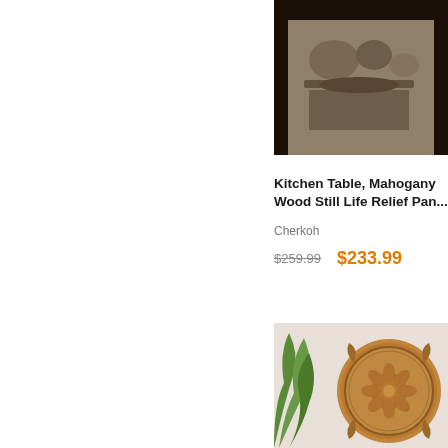[Figure (photo): Top portion of a framed mahogany wood still life relief panel artwork, showing decorative carved scene with dark frame]
Kitchen Table, Mahogany Wood Still Life Relief Pan...
Cherkoh
$259.99  $233.99
[Figure (photo): Circular carved wooden decorative wall panel with floral mandala design, featuring lotus flower and ornate scrollwork, shown against neutral background with green plant]